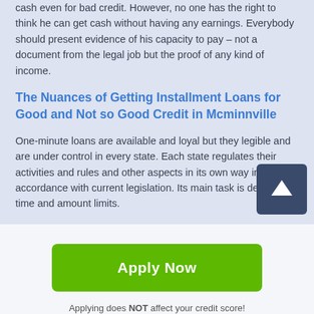cash even for bad credit. However, no one has the right to think he can get cash without having any earnings. Everybody should present evidence of his capacity to pay – not a document from the legal job but the proof of any kind of income.
The Nuances of Getting Installment Loans for Good and Not so Good Credit in Mcminnville
One-minute loans are available and loyal but they legible and are under control in every state. Each state regulates their activities and rules and other aspects in its own way in accordance with current legislation. Its main task is define the time and amount limits.
Apply Now
Applying does NOT affect your credit score! No credit check to apply.